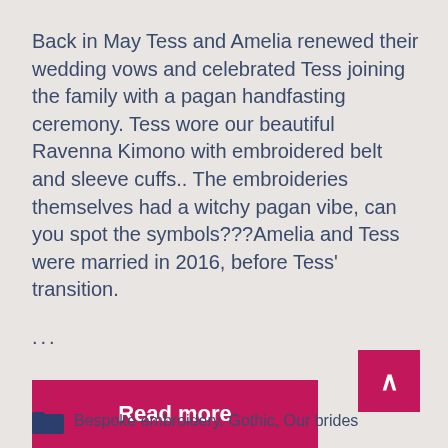Back in May Tess and Amelia renewed their wedding vows and celebrated Tess joining the family with a pagan handfasting ceremony. Tess wore our beautiful Ravenna Kimono with embroidered belt and sleeve cuffs.. The embroideries themselves had a witchy pagan vibe, can you spot the symbols???Amelia and Tess were married in 2016, before Tess' transition.
...
Read more
Bespoke embroidery, Gothic, Our brides